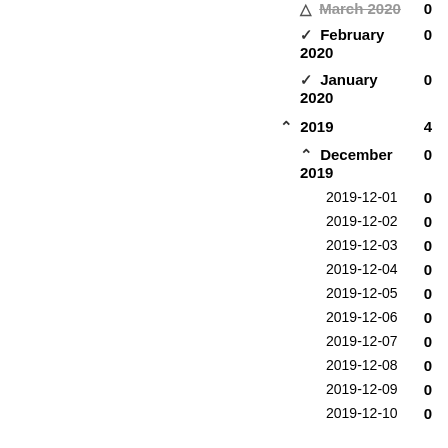March 2020   0
February 2020   0
January 2020   0
2019   4
December 2019   0
2019-12-01   0
2019-12-02   0
2019-12-03   0
2019-12-04   0
2019-12-05   0
2019-12-06   0
2019-12-07   0
2019-12-08   0
2019-12-09   0
2019-12-10   0